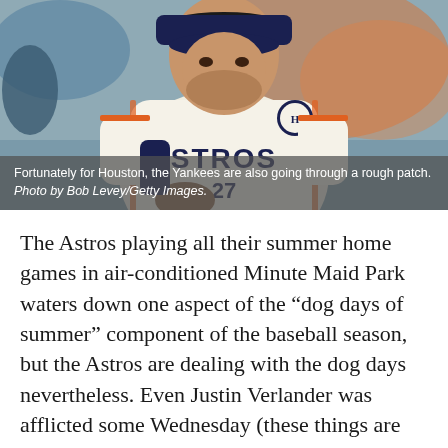[Figure (photo): A Houston Astros baseball player wearing a white jersey with 'STROS' and number 27, looking upward. The photo is taken during a game with an orange-clad crowd in the background.]
Fortunately for Houston, the Yankees are also going through a rough patch. Photo by Bob Levey/Getty Images.
The Astros playing all their summer home games in air-conditioned Minute Maid Park waters down one aspect of the “dog days of summer” component of the baseball season, but the Astros are dealing with the dog days nevertheless. Even Justin Verlander was afflicted some Wednesday (these things are relative) as the Texas Rangers bombarded him for three runs. Three! Verlander’s season earned run average shot all the way up to